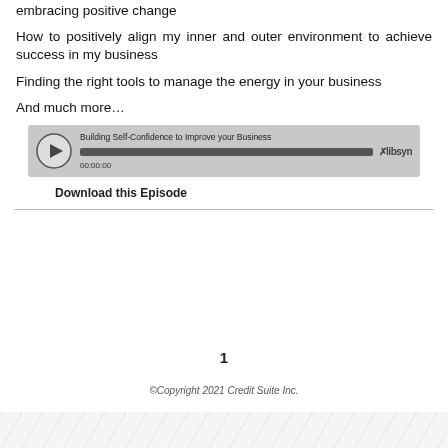embracing positive change
How to positively align my inner and outer environment to achieve success in my business
Finding the right tools to manage the energy in your business
And much more…
[Figure (other): Audio player widget showing episode 'Building Self-Confidence to Improve your Business' with play button, progress bar at 00:00:00, and Libsyn logo]
Download this Episode
1
©Copyright 2021 Credit Suite Inc.